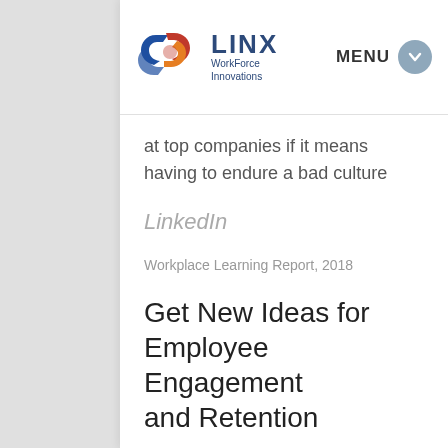[Figure (logo): LINX WorkForce Innovations logo with interlocking chain link in blue, red, and orange]
MENU
at top companies if it means having to endure a bad culture
LinkedIn
Workplace Learning Report, 2018
Get New Ideas for Employee Engagement and Retention
Attractive Pra...